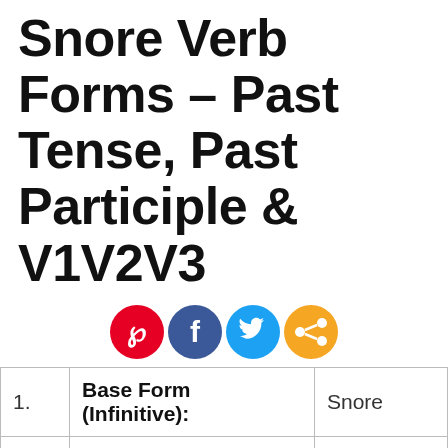Snore Verb Forms – Past Tense, Past Participle & V1V2V3
[Figure (other): Social share buttons: Pinterest (red), Facebook (dark blue), Twitter (light blue), Share (orange)]
| 1. | Base Form (Infinitive): | Snore |
| 2. | Simple Past: | Snored |
| 3. | Past Participle: | Snored |
| 4. | Present Participle: | Snoring |
| 5. | 3rd Person Singular: | Snores |